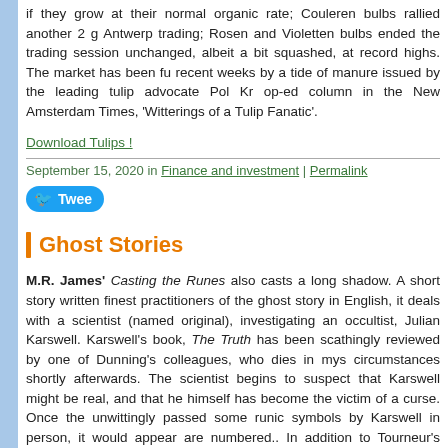if they grow at their normal organic rate; Couleren bulbs rallied another 2 g Antwerp trading; Rosen and Violetten bulbs ended the trading session unchanged, albeit a bit squashed, at record highs. The market has been fu recent weeks by a tide of manure issued by the leading tulip advocate Pol Kr op-ed column in the New Amsterdam Times, 'Witterings of a Tulip Fanatic'.
Download Tulips !
September 15, 2020 in Finance and investment | Permalink
[Figure (other): Tweet button]
Ghost Stories
M.R. James' Casting the Runes also casts a long shadow. A short story written finest practitioners of the ghost story in English, it deals with a scientist (named original), investigating an occultist, Julian Karswell. Karswell's book, The Truth has been scathingly reviewed by one of Dunning's colleagues, who dies in mys circumstances shortly afterwards. The scientist begins to suspect that Karswel might be real, and that he himself has become the victim of a curse. Once the unwittingly passed some runic symbols by Karswell in person, it would appear are numbered.. In addition to Tourneur's (quite brilliant) 1957 film, Casting the also go on to be adapted several times for television and radio, and more rece inspired or influenced films including the Japanese (and US) horror franchise R 2014 horror film It Follows. It draws its fundamental strength from a slow and u of psychological disintegration: is the world going mad, or is it just me ?
Download Ghost Stories
September 08, 2020 in Current Affairs, Film, Finance and investment | Permalink